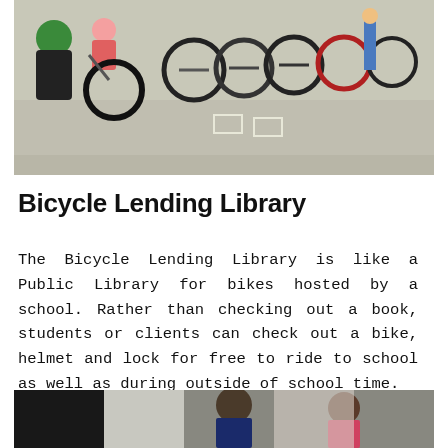[Figure (photo): Children with bikes and helmets in a school outdoor area, with rows of bicycles visible in the background]
Bicycle Lending Library
The Bicycle Lending Library is like a Public Library for bikes hosted by a school. Rather than checking out a book, students or clients can check out a bike, helmet and lock for free to ride to school as well as during outside of school time.
[Figure (photo): Children sitting or crouching outdoors, partially visible at the bottom of the page]